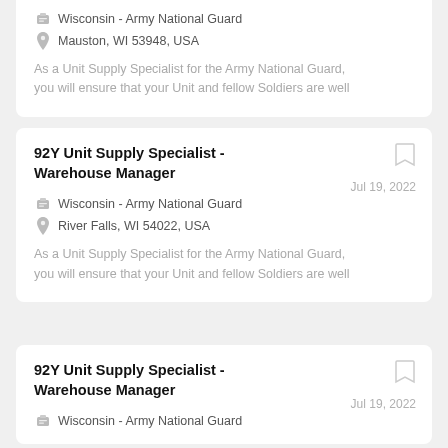Wisconsin - Army National Guard
Mauston, WI 53948, USA
As a Unit Supply Specialist for the Army National Guard, you will ensure that your Unit and fellow Soldiers are well
92Y Unit Supply Specialist - Warehouse Manager
Jul 19, 2022
Wisconsin - Army National Guard
River Falls, WI 54022, USA
As a Unit Supply Specialist for the Army National Guard, you will ensure that your Unit and fellow Soldiers are well
92Y Unit Supply Specialist - Warehouse Manager
Jul 19, 2022
Wisconsin - Army National Guard